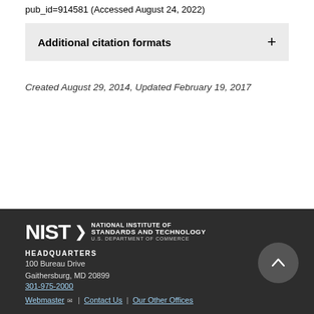pub_id=914581 (Accessed August 24, 2022)
Additional citation formats
Created August 29, 2014, Updated February 19, 2017
NIST | NATIONAL INSTITUTE OF STANDARDS AND TECHNOLOGY U.S. DEPARTMENT OF COMMERCE
HEADQUARTERS
100 Bureau Drive
Gaithersburg, MD 20899
301-975-2000
Webmaster | Contact Us | Our Other Offices